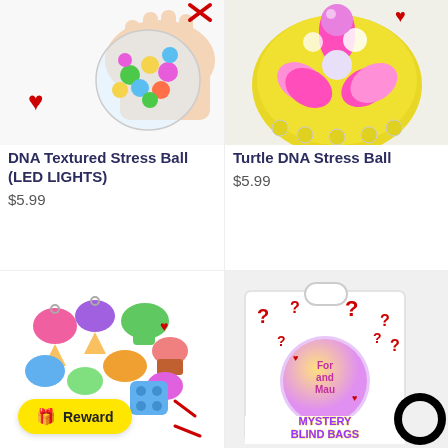[Figure (photo): Hand squeezing a clear stress ball filled with colorful small balls (green, yellow, blue, pink), with red heart decorations]
[Figure (photo): Yellow turtle-shaped pop toy / stress ball with pink flower design on top, close-up view, with red heart decoration]
DNA Textured Stress Ball (LED LIGHTS)
$5.99
Turtle DNA Stress Ball
$5.99
[Figure (photo): Collection of colorful pop-it keychain toys in various shapes (ice cream, dinosaur, cupcake, etc.) spread out, with red heart decorations]
[Figure (photo): White gift bag with red question marks and a circular For and Mau logo badge, with Mystery Blind Bags text at the bottom in yellow outlined letters on purple/pink, with black circle UI element]